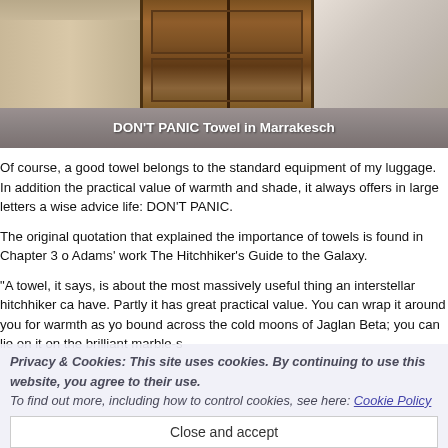[Figure (photo): Photo of a DON'T PANIC towel in Marrakesch, showing a wooden double door and arched architecture]
DON'T PANIC Towel in Marrakesch
Of course, a good towel belongs to the standard equipment of my luggage. In addition the practical value of warmth and shade, it always offers in large letters a wise advice life: DON'T PANIC.
The original quotation that explained the importance of towels is found in Chapter 3 o Adams' work The Hitchhiker's Guide to the Galaxy.
"A towel, it says, is about the most massively useful thing an interstellar hitchhiker ca have. Partly it has great practical value. You can wrap it around you for warmth as yo bound across the cold moons of Jaglan Beta; you can lie on it on the brilliant marble-s... can sleep un be... fly on the desert world of Kakrafoon; use it to sai mi... wrap around your head to ward off noxious fumes or avoid the gaze of the Ravenous Bu... Beast of Traal (such a mind-bogglingly stupid animal, it a... t ee... ca n't see you — daft as a brush, but very very ravenous); you can wave your towel i... emergencies as a distress signal, and of course dry yourself off with it if it still seem
Privacy & Cookies: This site uses cookies. By continuing to use this website, you agree to their use.
To find out more, including how to control cookies, see here: Cookie Policy
Close and accept